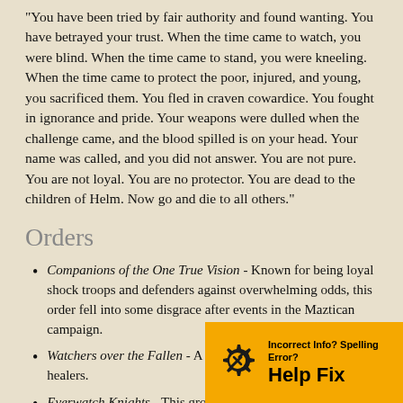"You have been tried by fair authority and found wanting. You have betrayed your trust. When the time came to watch, you were blind. When the time came to stand, you were kneeling. When the time came to protect the poor, injured, and young, you sacrificed them. You fled in craven cowardice. You fought in ignorance and pride. Your weapons were dulled when the challenge came, and the blood spilled is on your head. Your name was called, and you did not answer. You are not pure. You are not loyal. You are no protector. You are dead to the children of Helm. Now go and die to all others."
Orders
Companions of the One True Vision - Known for being loyal shock troops and defenders against overwhelming odds, this order fell into some disgrace after events in the Maztican campaign.
Watchers over the Fallen - A small fellowship of battlefield healers.
Everwatch Knights - This group of dedicated bodyguards was hired out by Helmite te... the church.
[Figure (other): Help Fix overlay banner with gear/wrench icon and text: 'Incorrect Info? Spelling Error? Help Fix']